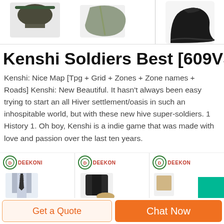[Figure (photo): Top product images: two items on the left (military/tactical gear items) and a black boot on the right, partially cropped at top]
Kenshi Soldiers Best [609VSPI] - Sekusan.Prodotti.March
Kenshi: Nice Map [Tpg + Grid + Zones + Zone names + Roads] Kenshi: New Beautiful. It hasn't always been easy trying to start an all Hiver settlement/oasis in such an inhospitable world, but with these new hive super-soldiers. 1 History 1. Oh boy, Kenshi is a indie game that was made with love and passion over the last ten years.
[Figure (photo): Bottom row of three product cards each with Deekon logo and clothing thumbnail images, plus a green box on the rightmost card]
Get a Quote
Chat Now